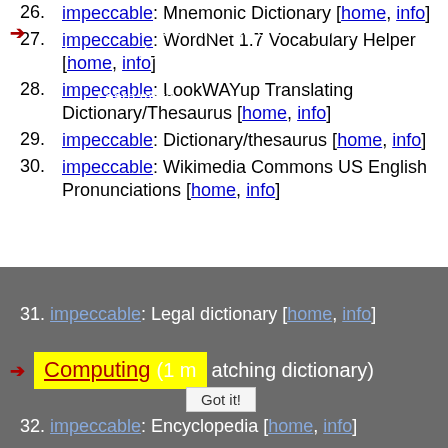26. impeccable: Mnemonic Dictionary [home, info]
27. impeccable: WordNet 1.7 Vocabulary Helper [home, info]
28. impeccable: LookWAYup Translating Dictionary/Thesaurus [home, info]
29. impeccable: Dictionary/thesaurus [home, info]
30. impeccable: Wikimedia Commons US English Pronunciations [home, info]
This website uses cookies to ensure you get the best experience on our website. Learn more
31. impeccable: Legal dictionary [home, info]
Computing (1 matching dictionary)
Got it!
32. impeccable: Encyclopedia [home, info]